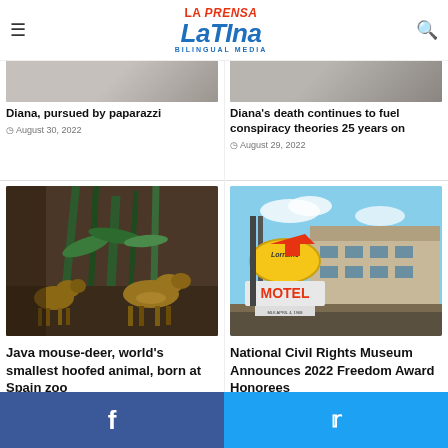La Prensa Latina Bilingual Media
[Figure (photo): Partial photo top-left (person pursued by paparazzi, cut off)]
Diana, pursued by paparazzi
August 30, 2022
[Figure (photo): Partial photo top-right (Diana conspiracy, cut off)]
Diana's death continues to fuel conspiracy theories 25 years on
August 29, 2022
[Figure (photo): Photo of Java mouse-deer, world's smallest hoofed animal, at Spain zoo]
Java mouse-deer, world's smallest hoofed animal, born at Spain zoo
August 26, 2022
[Figure (photo): Photo of Lorraine Motel sign, National Civil Rights Museum]
National Civil Rights Museum Announces 2022 Freedom Award Honorees
August 24, 2022
Facebook | Twitter social sharing bar